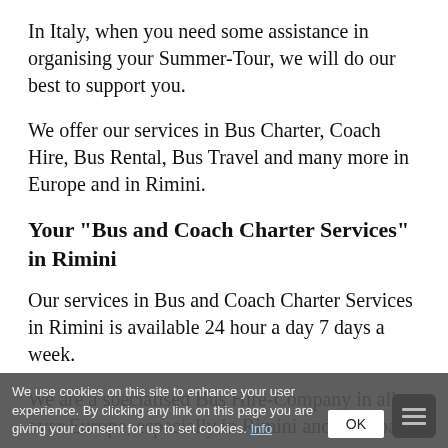In Italy, when you need some assistance in organising your Summer-Tour, we will do our best to support you.
We offer our services in Bus Charter, Coach Hire, Bus Rental, Bus Travel and many more in Europe and in Rimini.
Your "Bus and Coach Charter Services" in Rimini
Our services in Bus and Coach Charter Services in Rimini is available 24 hour a day 7 days a week.
We are a specialised Bus Hire-Company in all over Europe, especially in Rimini and our goal
we serve Groups From 10 to 1000 persons fo
We use cookies on this site to enhance your user experience. By clicking any link on this page you are giving your consent for us to set cookies. Info OK